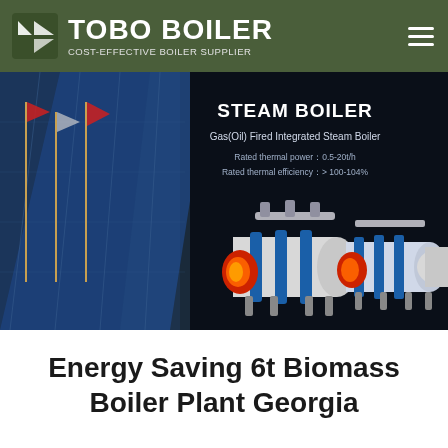TOBO BOILER — COST-EFFECTIVE BOILER SUPPLIER
[Figure (photo): Promotional banner showing a dark background with 'STEAM BOILER' heading, subtitle 'Gas(Oil) Fired Integrated Steam Boiler', specs 'Rated thermal power: 0.5-20t/h' and 'Rated thermal efficiency: > 100-104%', and three industrial steam boiler units displayed. Left side shows a glass building facade with flagpoles.]
Energy Saving 6t Biomass Boiler Plant Georgia